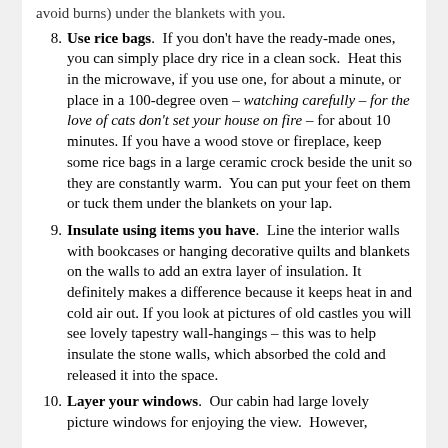8. Use rice bags. If you don't have the ready-made ones, you can simply place dry rice in a clean sock. Heat this in the microwave, if you use one, for about a minute, or place in a 100-degree oven – watching carefully – for the love of cats don't set your house on fire – for about 10 minutes. If you have a wood stove or fireplace, keep some rice bags in a large ceramic crock beside the unit so they are constantly warm. You can put your feet on them or tuck them under the blankets on your lap.
9. Insulate using items you have. Line the interior walls with bookcases or hanging decorative quilts and blankets on the walls to add an extra layer of insulation. It definitely makes a difference because it keeps heat in and cold air out. If you look at pictures of old castles you will see lovely tapestry wall-hangings – this was to help insulate the stone walls, which absorbed the cold and released it into the space.
10. Layer your windows. Our cabin had large lovely picture windows for enjoying the view. However,